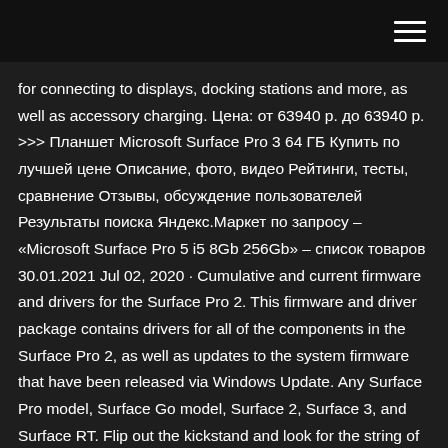for connecting to displays, docking stations and more, as well as accessory charging. Цена: от 63940 р. до 63940 р. >>> Планшет Microsoft Surface Pro 3 64 ГБ Купить по лучшей цене Описание, фото, видео Рейтинги, тесты, сравнение Отзывы, обсуждение пользователей Результаты поиска Яндекс.Маркет по запросу – «Microsoft Surface Pro 5 i5 8Gb 256Gb» – список товаров 30.01.2021 Jul 02, 2020 · Cumulative and current firmware and drivers for the Surface Pro 2. This firmware and driver package contains drivers for all of the components in the Surface Pro 2, as well as updates to the system firmware that have been released via Windows Update. Any Surface Pro model, Surface Go model, Surface 2, Surface 3, and Surface RT. Flip out the kickstand and look for the string of